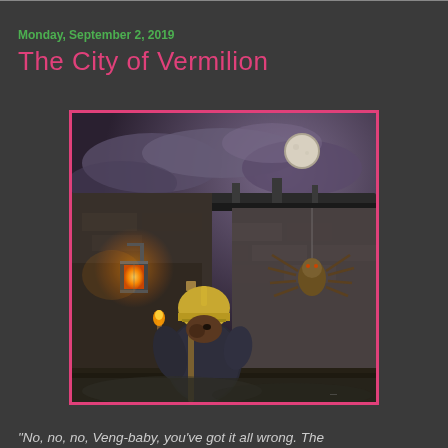Monday, September 2, 2019
The City of Vermilion
[Figure (illustration): Fantasy illustration of an armored guard/soldier wearing a yellow helmet and chainmail, holding a staff/torch, standing in front of a stone building at night. A large spider hangs on the wall to the right. An orange lantern glows on the left. The moon is visible through cloudy purple-grey sky.]
"No, no, no, Veng-baby, you've got it all wrong. The